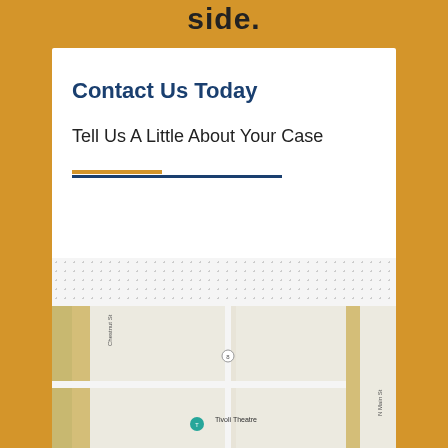side.
Contact Us Today
Tell Us A Little About Your Case
[Figure (map): Google Maps street map showing location near Tivoli Theatre and Summers Rubio, with city grid streets visible]